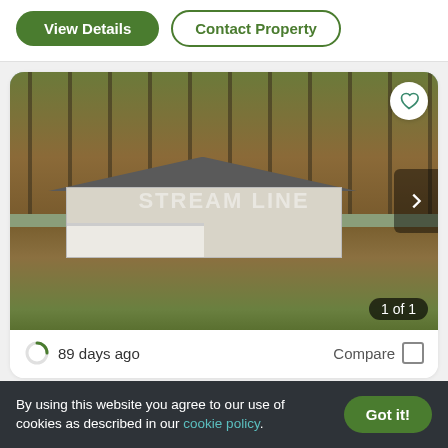[Figure (screenshot): Website UI showing two buttons: 'View Details' (green filled, rounded) and 'Contact Property' (green outline, rounded)]
[Figure (photo): Exterior photo of a ranch-style house with white porch railing, surrounded by tall bare trees with autumn leaves on the ground. Watermark overlay visible. '1 of 1' counter badge in bottom right corner, heart/favorite icon in top right, right navigation arrow.]
89 days ago
Compare
By using this website you agree to our use of cookies as described in our cookie policy.
Got it!